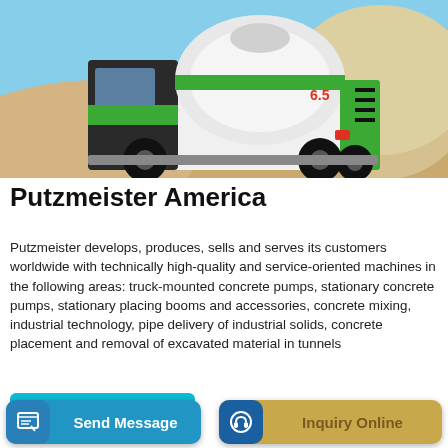[Figure (photo): A green and white self-loading concrete mixer truck on a sandy construction site with piles of aggregate/sand in the background and a blue sky. The truck has a rotating drum labeled '6.5' and visible brand markings.]
Putzmeister America
Putzmeister develops, produces, sells and serves its customers worldwide with technically high-quality and service-oriented machines in the following areas: truck-mounted concrete pumps, stationary concrete pumps, stationary placing booms and accessories, concrete mixing, industrial technology, pipe delivery of industrial solids, concrete placement and removal of excavated material in tunnels
[Figure (other): Two action buttons at the bottom: 'Send Message' (blue button with document/edit icon) and 'Inquiry Online' (tan/gold button with headset icon in blue circle).]